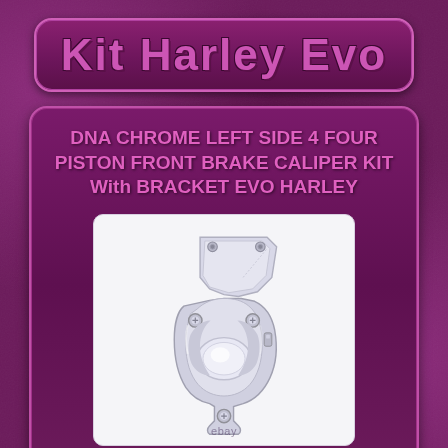Kit Harley Evo
DNA CHROME LEFT SIDE 4 FOUR PISTON FRONT BRAKE CALIPER KIT With BRACKET EVO HARLEY
[Figure (photo): Chrome four-piston front brake caliper with mounting bracket, silver/chrome finish, shown against white background with eBay watermark]